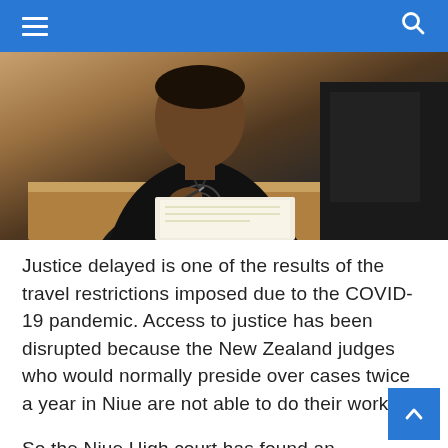Navigation header with menu and search icons
[Figure (photo): A person sitting at a desk in a courtroom or formal setting, wearing a dark patterned shirt with traditional designs, holding a pen and appearing to write or review documents. Wooden furniture visible in background.]
Justice delayed is one of the results of the travel restrictions imposed due to the COVID-19 pandemic. Access to justice has been disrupted because the New Zealand judges who would normally preside over cases twice a year in Niue are not able to do their work.
So the Niue High court has found an alternative to ensure that the court sittings or at least some the cases, can still be heard via Zoom.